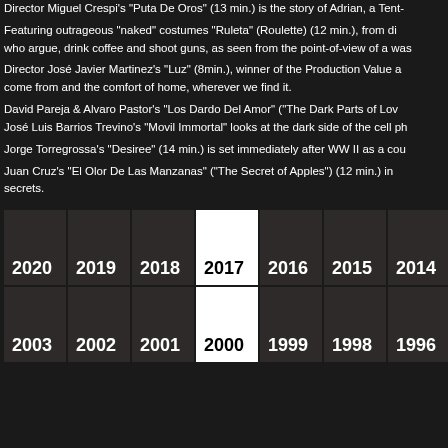Director Miguel Crespi's "Puta De Oros" (13 min.) is the story of Adrian, a Tent-
Featuring outrageous "naked" costumes "Ruleta" (Roulette) (12 min.), from di who argue, drink coffee and shoot guns, as seen from the point-of-view of a was
Director José Javier Martinez's "Luz" (8min.), winner of the Production Value a come from and the comfort of home, wherever we find it.
David Pareja & Alvaro Pastor's "Los Dardo Del Amor" ("The Dark Parts of Lov José Luis Barrios Trevino's "Movil Immortal" looks at the dark side of the cell ph
Jorge Torregrossa's "Desiree" (14 min.) is set immediately after WW II as a cou
Juan Cruz's "El Olor De Las Manzanas" ("The Secret of Apples") (12 min.) in secrets.
[Figure (other): Year navigation grid with two rows of year buttons. Top row: 2020, 2019, 2018, 2017 (highlighted/active in white), 2016, 2015, 2014, 20... Bottom row: 2003, 2002, 2001, 2000 (highlighted/active in white), 1999, 1998, 1996, 199...]